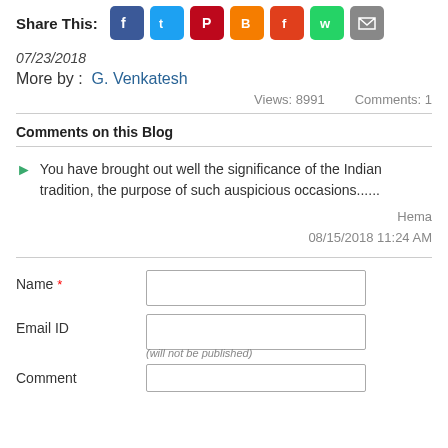[Figure (other): Share This: row with social media icons for Facebook, Twitter, Pinterest, Blogger, Flipboard, WhatsApp, Email]
07/23/2018
More by :  G. Venkatesh
Views: 8991    Comments: 1
Comments on this Blog
You have brought out well the significance of the Indian tradition, the purpose of such auspicious occasions......
Hema
08/15/2018 11:24 AM
Name *  [input field]
Email ID  [input field]
(will not be published)
Comment  [input field]